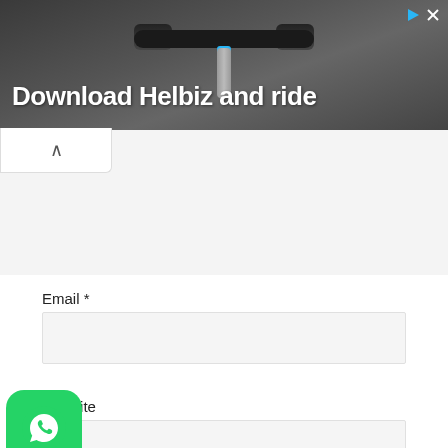[Figure (screenshot): Advertisement banner for Helbiz app showing bicycle handlebars photo with text 'Download Helbiz and ride', play and close icons top right]
Email *
Website
Save my name, email, and website in this browser for the next time I comment.